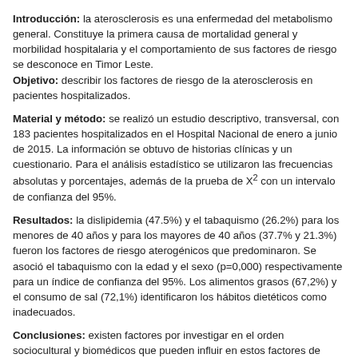Introducción: la aterosclerosis es una enfermedad del metabolismo general. Constituye la primera causa de mortalidad general y morbilidad hospitalaria y el comportamiento de sus factores de riesgo se desconoce en Timor Leste. Objetivo: describir los factores de riesgo de la aterosclerosis en pacientes hospitalizados.
Material y método: se realizó un estudio descriptivo, transversal, con 183 pacientes hospitalizados en el Hospital Nacional de enero a junio de 2015. La información se obtuvo de historias clínicas y un cuestionario. Para el análisis estadístico se utilizaron las frecuencias absolutas y porcentajes, además de la prueba de X² con un intervalo de confianza del 95%.
Resultados: la dislipidemia (47.5%) y el tabaquismo (26.2%) para los menores de 40 años y para los mayores de 40 años (37.7% y 21.3%) fueron los factores de riesgo aterogénicos que predominaron. Se asoció el tabaquismo con la edad y el sexo (p=0,000) respectivamente para un índice de confianza del 95%. Los alimentos grasos (67,2%) y el consumo de sal (72,1%) identificaron los hábitos dietéticos como inadecuados.
Conclusiones: existen factores por investigar en el orden sociocultural y biomédicos que pueden influir en estos factores de riesgo y de esta forma poder realizar estrategias específicas de intervención para disminuir esta enfermedad. El manejo de los factores de riesgo modificables es importante